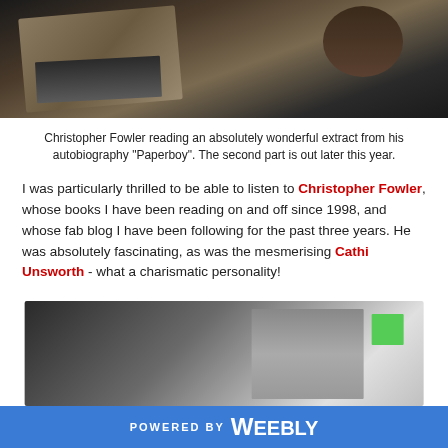[Figure (photo): Photo of a desk with books, notebooks, and items on a dark marble or wooden surface]
Christopher Fowler reading an absolutely wonderful extract from his autobiography "Paperboy". The second part is out later this year.
I was particularly thrilled to be able to listen to Christopher Fowler, whose books I have been reading on and off since 1998, and whose fab blog I have been following for the past three years. He was absolutely fascinating, as was the mesmerising Cathi Unsworth - what a charismatic personality!
[Figure (photo): Photo showing what appears to be electronic devices or tablets on a surface]
POWERED BY weebly